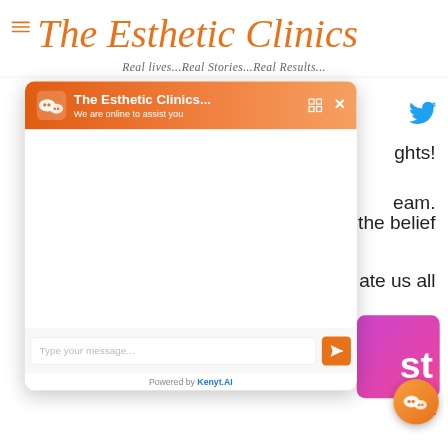The Esthetic Clinics
Real lives...Real Stories...Real Results...
[Figure (screenshot): WeChat-style live chat widget overlay on The Esthetic Clinics website. Header shows orange gradient with WeChat logo, title 'The Esthetic Clinics... We are online to assist you', expand and close buttons. Empty chat body area. Footer has 'Type your message...' input field and orange send button. 'Powered by Kenyt.AI' at bottom. Behind the widget, partial website content is visible including Twitter icon, purple/pink gradient box, and text fragments 'ghts!', 'eam.', 'the belief', 'ate us all', 'st', 'RE'.]